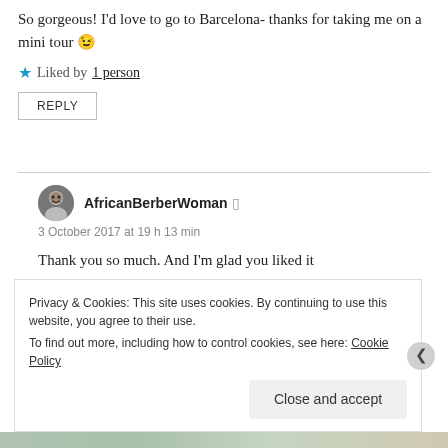So gorgeous! I'd love to go to Barcelona- thanks for taking me on a mini tour 😉
★ Liked by 1 person
REPLY
AfricanBerberWoman
3 October 2017 at 19 h 13 min
Thank you so much. And I'm glad you liked it
★ Like
Privacy & Cookies: This site uses cookies. By continuing to use this website, you agree to their use. To find out more, including how to control cookies, see here: Cookie Policy
Close and accept